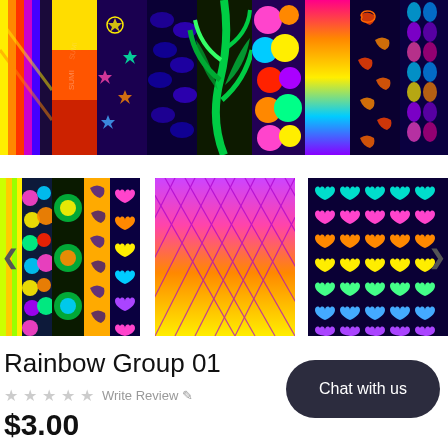[Figure (photo): Wide banner showing multiple colorful fabric/paper pattern swatches side by side: rainbow stripes, star pattern on dark, tropical leaves, colorful hexagons, rainbow gradient, leopard print, snake scale pattern, hearts pattern]
[Figure (photo): Three thumbnail images of rainbow fabric patterns: left shows striped/mixed patterns, center shows pink/yellow diamond mesh pattern, right shows rainbow hearts on dark background]
Rainbow Group 01
Write Review
$3.00
Chat with us